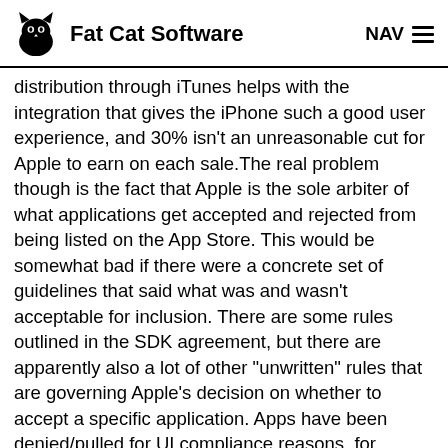Fat Cat Software  NAV
distribution through iTunes helps with the integration that gives the iPhone such a good user experience, and 30% isn't an unreasonable cut for Apple to earn on each sale.The real problem though is the fact that Apple is the sole arbiter of what applications get accepted and rejected from being listed on the App Store. This would be somewhat bad if there were a concrete set of guidelines that said what was and wasn't acceptable for inclusion. There are some rules outlined in the SDK agreement, but there are apparently also a lot of other "unwritten" rules that are governing Apple's decision on whether to accept a specific application. Apps have been denied/pulled for UI compliance reasons, for resource usage, for "taste" (e.g. the "Pull My Finger" app), and for no particular reason other than some vague assertion of "usefulness" (e.g. the "I Am Rich" app which cost $999 and did nothing).The latest app to be rejected takes things over the top, though. Podcaster, an iPhone app designed by Almerica,